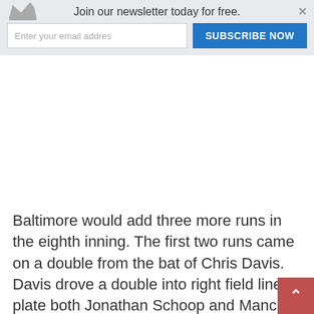[Figure (screenshot): Newsletter subscription banner with crown icon, email input field, and blue SUBSCRIBE NOW button]
Baltimore would add three more runs in the eighth inning. The first two runs came on a double from the bat of Chris Davis. Davis drove a double into right field line to plate both Jonathan Schoop and Mancini. Then, Beckham hit a triple that went into